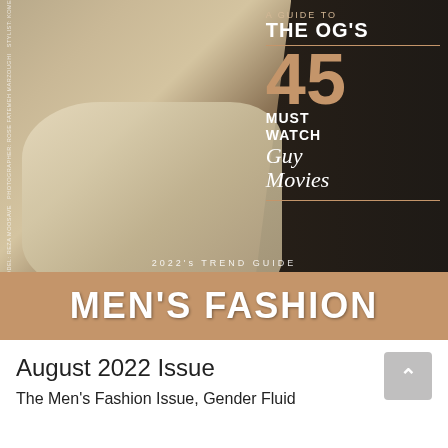[Figure (photo): Magazine cover for Men's Fashion August 2022 Issue. A male model in a beige/cream open shirt with checked trousers, arms crossed, against a dark brown background. Cover text reads: 'A GUIDE TO THE OG'S', '45 MUST WATCH Guy Movies', '2022's TREND GUIDE', 'MEN'S FASHION'. Vertical credits on left side: MODEL: REZA MOOSAVE; PHOTOGRAPHER: ROSE FATEMEH MARZOUGHI; STYLIST: KOMEL MOHAMMADI; HAIR: KOMEL GH]
August 2022 Issue
The Men's Fashion Issue, Gender Fluid